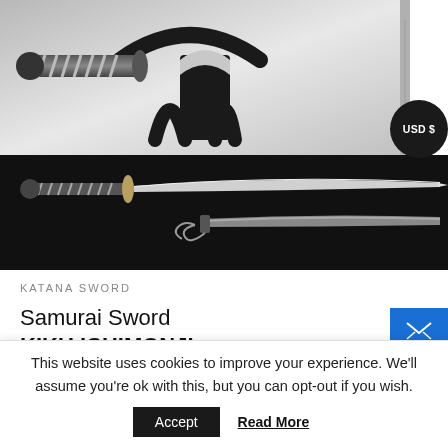[Figure (photo): Samurai sword (katana) displayed on a black sword stand, photographed on white/gray background. Upper portion shows the handle and stand detail.]
[Figure (photo): Katana sword silhouette shown in full length against black background, with blade and scabbard visible separately.]
KATANA SWORD
Samurai Sword
KIKU ICHIMONJI
This website uses cookies to improve your experience. We'll assume you're ok with this, but you can opt-out if you wish.
Accept   Read More